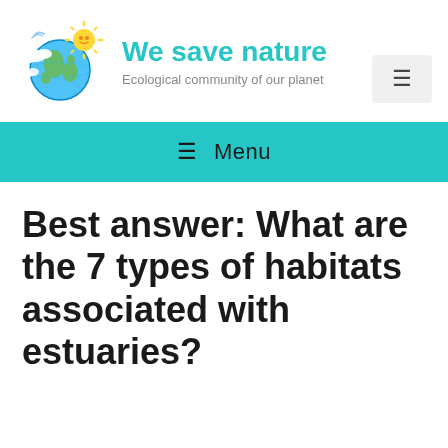[Figure (logo): Cartoon globe with sun and clouds logo for 'We save nature' website]
We save nature
Ecological community of our planet
[Figure (other): Hamburger menu icon button (three horizontal lines) in a light gray rounded box]
≡ Menu
Best answer: What are the 7 types of habitats associated with estuaries?